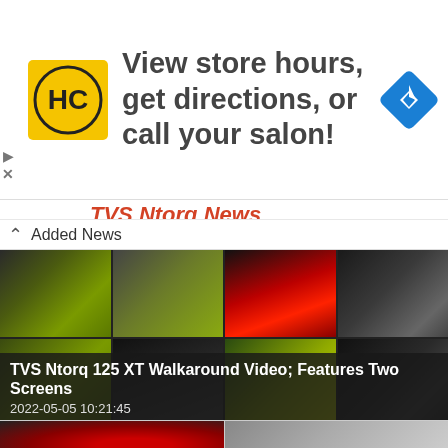[Figure (screenshot): Advertisement banner with HC (HairClub) yellow logo on left, text 'View store hours, get directions, or call your salon!' in center, blue navigation diamond icon on right. Play and X buttons on far left edge.]
TVS Ntorq News  Added News
[Figure (photo): Grid of motorcycle photos showing TVS Ntorq 125 XT from multiple angles — green/yellow bodywork, rear tail light, front panel, rider gear]
TVS Ntorq 125 XT Walkaround Video; Features Two Screens
2022-05-05 10:21:45
[Figure (photo): Gray placeholder image for TVS NTorq 125 XT dealership article]
New TVS NTorq 125 XT Starts Reaching Dealerships – Live Photos
2022-05-03 08:44:18
[Figure (photo): Bottom strip showing two motorcycle thumbnail images side by side]